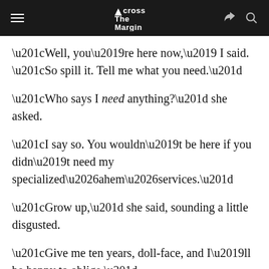Across The Margin
“Well, you’re here now,’ I said. “So spill it. Tell me what you need.”
“Who says I need anything?” she asked.
“I say so. You wouldn’t be here if you didn’t need my specialized…ahem…services.”
“Grow up,” she said, sounding a little disgusted.
“Give me ten years, doll-face, and I’ll be happy to oblige.”
“My name isn’t doll-face, so please stop calling me that. It makes you sound like a bum. Didn’t anyone ever tell you it’s rude to address a lady like that?” She